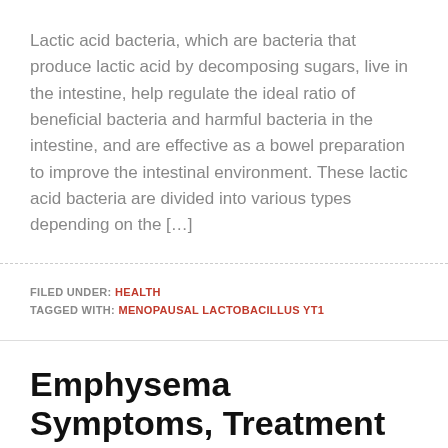Lactic acid bacteria, which are bacteria that produce lactic acid by decomposing sugars, live in the intestine, help regulate the ideal ratio of beneficial bacteria and harmful bacteria in the intestine, and are effective as a bowel preparation to improve the intestinal environment. These lactic acid bacteria are divided into various types depending on the […]
FILED UNDER: HEALTH
TAGGED WITH: MENOPAUSAL LACTOBACILLUS YT1
Emphysema Symptoms, Treatment and Prevention
AUGUST 28, 2022 BY ADVANCETEC WRITER